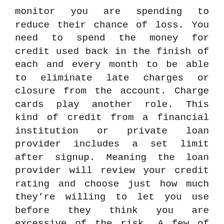monitor you are spending to reduce their chance of loss. You need to spend the money for credit used back in the finish of each and every month to be able to eliminate late charges or closure from the account. Charge cards play another role. This kind of credit from a financial institution or private loan provider includes a set limit after signup. Meaning the loan provider will review your credit rating and choose just how much they're willing to let you use before they think you are excessive of the risk. A few of these charge cards begin low but could rapidly have limits elevated with time by showing excellent payment history. Remember you are able to roll this kind of credit every month as lengthy while you don't miss your monthly obligations. Bear in mind you won't ever desire to use greater than